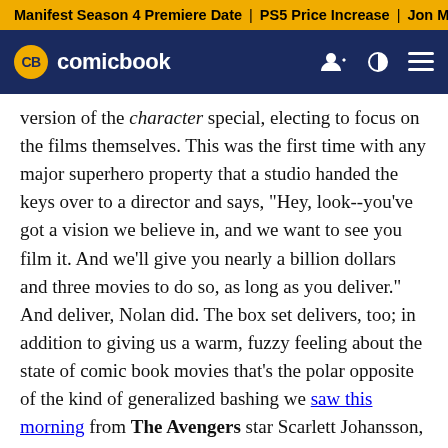Manifest Season 4 Premiere Date | PS5 Price Increase | Jon M
CB comicbook
version of the character special, electing to focus on the films themselves. This was the first time with any major superhero property that a studio handed the keys over to a director and says, "Hey, look--you've got a vision we believe in, and we want to see you film it. And we'll give you nearly a billion dollars and three movies to do so, as long as you deliver." And deliver, Nolan did. The box set delivers, too; in addition to giving us a warm, fuzzy feeling about the state of comic book movies that's the polar opposite of the kind of generalized bashing we saw this morning from The Avengers star Scarlett Johansson, the